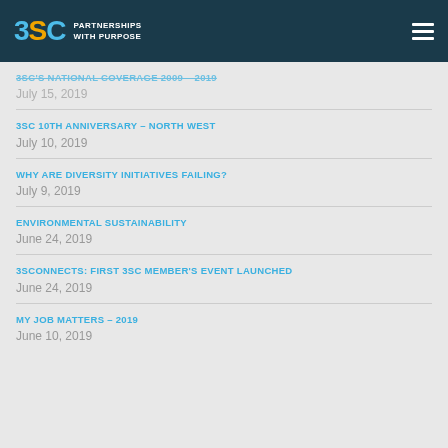3SC PARTNERSHIPS WITH PURPOSE
3SC'S NATIONAL COVERAGE 2009 – 2019
July 15, 2019
3SC 10TH ANNIVERSARY – NORTH WEST
July 10, 2019
WHY ARE DIVERSITY INITIATIVES FAILING?
July 9, 2019
ENVIRONMENTAL SUSTAINABILITY
June 24, 2019
3SCONNECTS: FIRST 3SC MEMBER'S EVENT LAUNCHED
June 24, 2019
MY JOB MATTERS – 2019
June 10, 2019